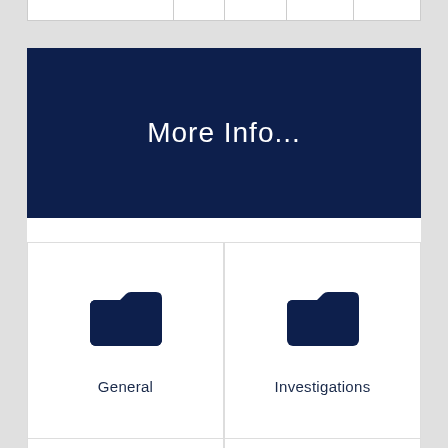|  |  |  |  |  |
| --- | --- | --- | --- | --- |
|  |
More Info...
[Figure (illustration): Folder icon representing General category]
General
[Figure (illustration): Folder icon representing Investigations category]
Investigations